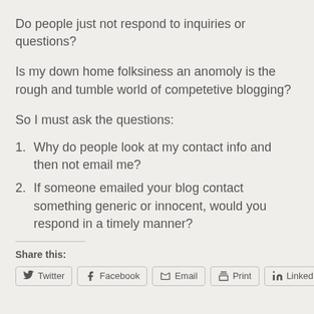Do people just not respond to inquiries or questions?
Is my down home folksiness an anomoly is the rough and tumble world of competetive blogging?
So I must ask the questions:
1. Why do people look at my contact info and then not email me?
2. If someone emailed your blog contact something generic or innocent, would you respond in a timely manner?
Share this:
Twitter  Facebook  Email  Print  LinkedIn